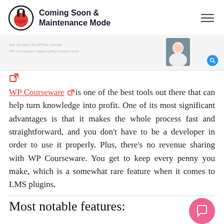Coming Soon & Maintenance Mode
[Figure (screenshot): Screenshot of WP Courseware website with blurred text lines and a person's avatar on the right, plus a blue search icon circle]
[Figure (other): External link icon (red arrow box)]
WP Courseware is one of the best tools out there that can help turn knowledge into profit. One of its most significant advantages is that it makes the whole process fast and straightforward, and you don't have to be a developer in order to use it properly. Plus, there's no revenue sharing with WP Courseware. You get to keep every penny you make, which is a somewhat rare feature when it comes to LMS plugins.
Most notable features: